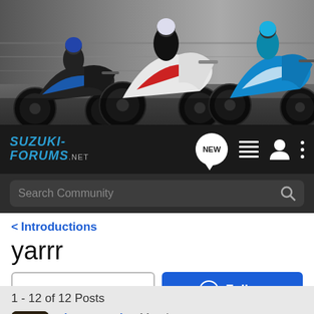[Figure (photo): Website banner showing three Suzuki motorcycles on a racetrack with blurred motion background]
[Figure (screenshot): Suzuki Forums navigation bar with logo, NEW bubble icon, list icon, user icon, and three-dot menu]
Search Community
< Introductions
yarrr
→ Jump to Latest
+ Follow
1 - 12 of 12 Posts
shagzomatic · Member
Joined Jan 17, 2008 · 61 Posts